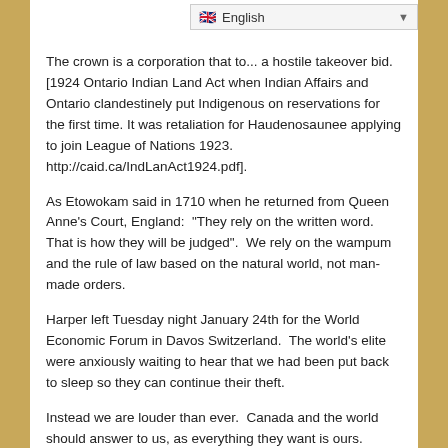The crown is a corporation that to... a hostile takeover bid.  [1924 Ontario Indian Land Act when Indian Affairs and Ontario clandestinely put Indigenous on reservations for the first time. It was retaliation for Haudenosaunee applying to join League of Nations 1923. http://caid.ca/IndLanAct1924.pdf].
As Etowokam said in 1710 when he returned from Queen Anne’s Court, England:  “They rely on the written word.  That is how they will be judged”.  We rely on the wampum and the rule of law based on the natural world, not man-made orders.
Harper left Tuesday night January 24th for the World Economic Forum in Davos Switzerland.  The world’s elite were anxiously waiting to hear that we had been put back to sleep so they can continue their theft.
Instead we are louder than ever.  Canada and the world should answer to us, as everything they want is ours.
Instead the foreign usurpers are sitting in high chairs like...